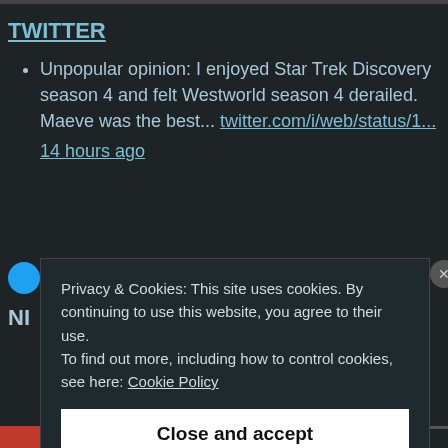TWITTER
Unpopular opinion: I enjoyed Star Trek Discovery season 4 and felt Westworld season 4 derailed. Maeve was the best... twitter.com/i/web/status/1... 14 hours ago
Privacy & Cookies: This site uses cookies. By continuing to use this website, you agree to their use.
To find out more, including how to control cookies, see here: Cookie Policy
Close and accept